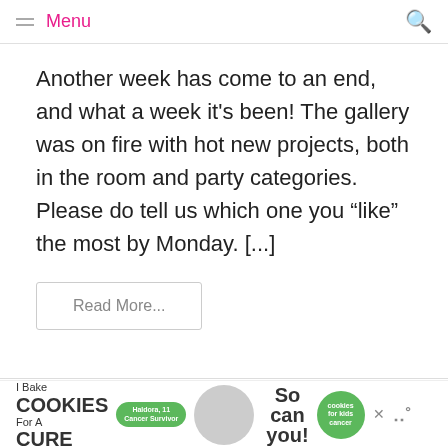Menu
Another week has come to an end, and what a week it's been! The gallery was on fire with hot new projects, both in the room and party categories. Please do tell us which one you “like” the most by Monday. [...]
Read More...
Giveaways, Junior, Style
[Figure (other): Advertisement banner: I Bake Cookies For A Cure featuring Haldora, 11 Cancer Survivor with green cookies badge and So can you text]